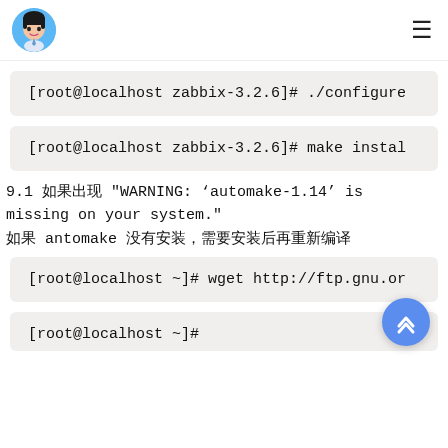[avatar] [hamburger menu]
[root@localhost zabbix-3.2.6]# ./configure
[root@localhost zabbix-3.2.6]# make install
9.1 如果出现 "WARNING: 'automake-1.14' is missing on your system."
如果 antomake 没有安装，需要安装后再重新编译
[root@localhost ~]# wget http://ftp.gnu.or